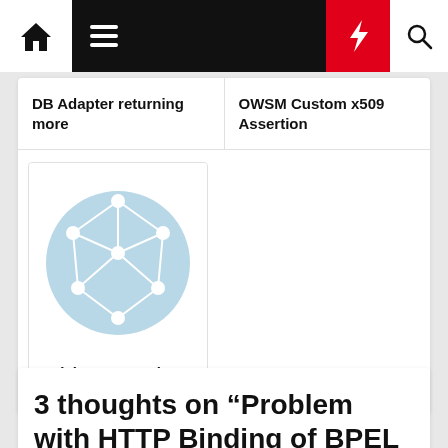[Figure (screenshot): Navigation bar with home icon, hamburger menu (black background), red lightning bolt button, and search icon]
DB Adapter returning more
OWSM Custom x509 Assertion
[Figure (illustration): Network graph icon on light blue circle background, white nodes and connecting lines]
Solving connection
3 thoughts on “Problem with HTTP Binding of BPEL